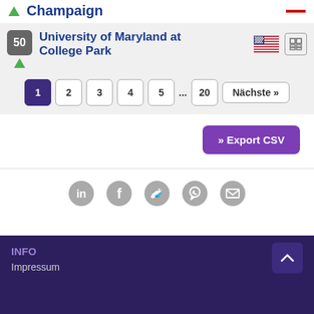Champaign
50 University of Maryland at College Park
1 2 3 4 5 ... 20 Nächste »
» Export CSV
[Figure (infographic): Social share icons: LinkedIn, Facebook, Twitter, WhatsApp, Email]
INFO Impressum